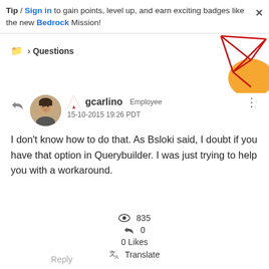Tip / Sign in to gain points, level up, and earn exciting badges like the new Bedrock Mission!
Questions
[Figure (illustration): Decorative geometric graphic with red lines and orange shapes in the top-right corner]
gcarlino Employee
15-10-2015 19:26 PDT
I don't know how to do that. As Bsloki said, I doubt if you have that option in Querybuilder. I was just trying to help you with a workaround.
835
0
0 Likes
Translate
Reply